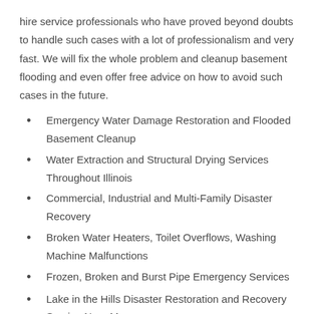hire service professionals who have proved beyond doubts to handle such cases with a lot of professionalism and very fast. We will fix the whole problem and cleanup basement flooding and even offer free advice on how to avoid such cases in the future.
Emergency Water Damage Restoration and Flooded Basement Cleanup
Water Extraction and Structural Drying Services Throughout Illinois
Commercial, Industrial and Multi-Family Disaster Recovery
Broken Water Heaters, Toilet Overflows, Washing Machine Malfunctions
Frozen, Broken and Burst Pipe Emergency Services
Lake in the Hills Disaster Restoration and Recovery Service Near Me
We understand such effects and that why we respond very fast to such cases. We remove all the affected items by water before for